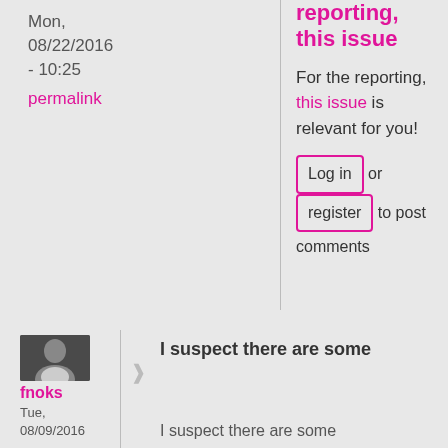Mon, 08/22/2016 - 10:25
permalink
reporting, this issue
For the reporting, this issue is relevant for you!
Log in or register to post comments
[Figure (photo): Profile photo of user fnoks, black and white portrait]
fnoks
Tue, 08/09/2016
I suspect there are some
I suspect there are some